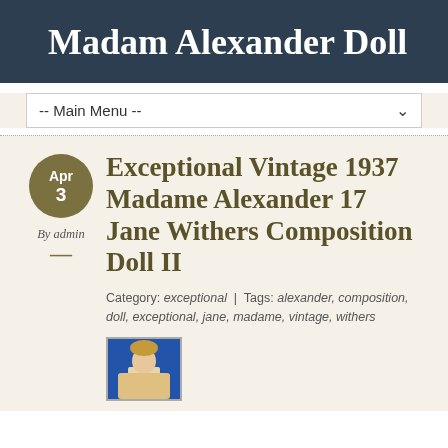Madam Alexander Doll
-- Main Menu --
Exceptional Vintage 1937 Madame Alexander 17 Jane Withers Composition Doll II
Apr 3
By admin
Category: exceptional | Tags: alexander, composition, doll, exceptional, jane, madame, vintage, withers
[Figure (photo): Thumbnail photo of a vintage doll]